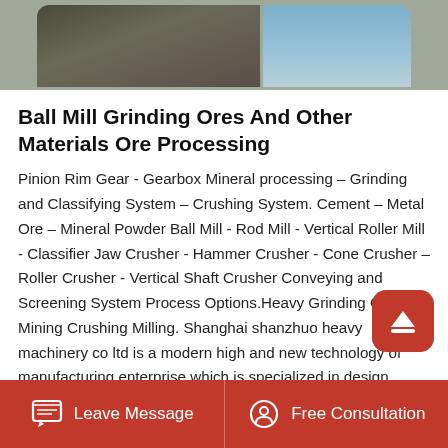[Figure (photo): Partial view of mining/industrial machinery and a building exterior, shown as a cropped photo strip at the top of the page.]
Ball Mill Grinding Ores And Other Materials Ore Processing
Pinion Rim Gear - Gearbox Mineral processing – Grinding and Classifying System – Crushing System. Cement – Metal Ore – Mineral Powder Ball Mill - Rod Mill - Vertical Roller Mill - Classifier Jaw Crusher - Hammer Crusher - Cone Crusher – Roller Crusher - Vertical Shaft Crusher Conveying and Screening System Process Options.Heavy Grinding Of Gear Mining Crushing Milling. Shanghai shanzhuo heavy machinery co ltd is a modern high and new technology of manufacturing enterprise which is specialized in design research development produce sales and after sales services of complete set machinery of heavy mining crushing and screening and industrial milling machine hard.
Leave Message   Free Consultation